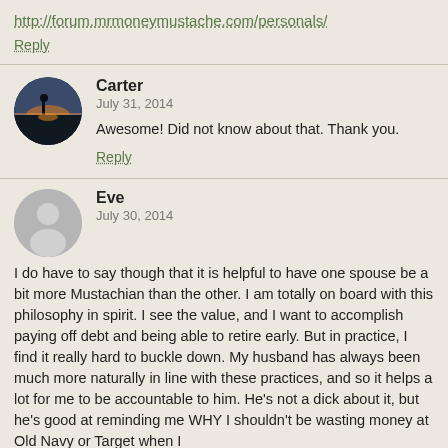http://forum.mrmoneymustache.com/personals/
Reply
Carter
July 31, 2014
Awesome! Did not know about that. Thank you.
Reply
Eve
July 30, 2014
I do have to say though that it is helpful to have one spouse be a bit more Mustachian than the other. I am totally on board with this philosophy in spirit. I see the value, and I want to accomplish paying off debt and being able to retire early. But in practice, I find it really hard to buckle down. My husband has always been much more naturally in line with these practices, and so it helps a lot for me to be accountable to him. He's not a dick about it, but he's good at reminding me WHY I shouldn't be wasting money at Old Navy or Target when I